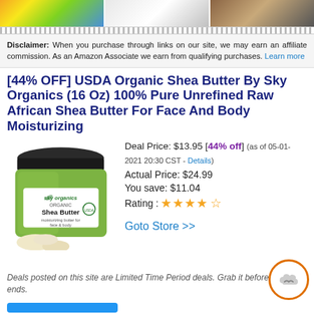[Figure (photo): Three product category images: colorful toys, white bedding/pillows, and home furniture]
Disclaimer: When you purchase through links on our site, we may earn an affiliate commission. As an Amazon Associate we earn from qualifying purchases. Learn more
[44% OFF] USDA Organic Shea Butter By Sky Organics (16 Oz) 100% Pure Unrefined Raw African Shea Butter For Face And Body Moisturizing
[Figure (photo): Sky Organics Organic Shea Butter jar, green label, with raw shea butter pieces in front]
Deal Price: $13.95 [44% off] (as of 05-01-2021 20:30 CST - Details)
Actual Price: $24.99
You save: $11.04
Rating : ★★★★☆
Goto Store >>
Deals posted on this site are Limited Time Period deals. Grab it before the deal ends.